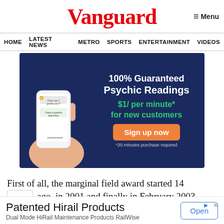Vanguard
≡ Menu
HOME  LATEST NEWS  METRO  SPORTS  ENTERTAINMENT  VIDEOS
[Figure (infographic): Advertisement banner: 100% Guaranteed Psychic Readings, $1/ per minute* for new customers, Sign up now, *20 minutes purchase required. Dark blue background with hand holding a smartphone.]
First of all, the marginal field award started 14
ago, in 2001 and finally in February 2003,
[Figure (infographic): Bottom advertisement: Patented Hirail Products - Dual Mode HiRail Maintenance Products RailWise, with an Open button.]